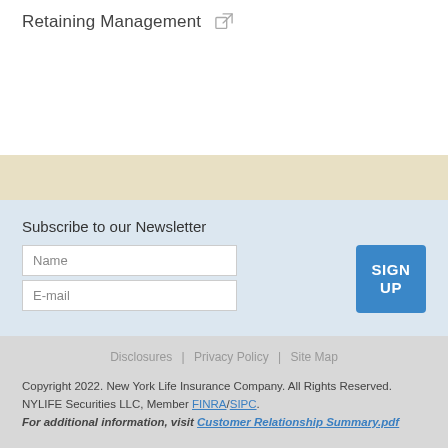Retaining Management
Subscribe to our Newsletter
Name
E-mail
SIGN UP
Disclosures | Privacy Policy | Site Map
Copyright 2022. New York Life Insurance Company. All Rights Reserved. NYLIFE Securities LLC, Member FINRA/SIPC. For additional information, visit Customer Relationship Summary.pdf